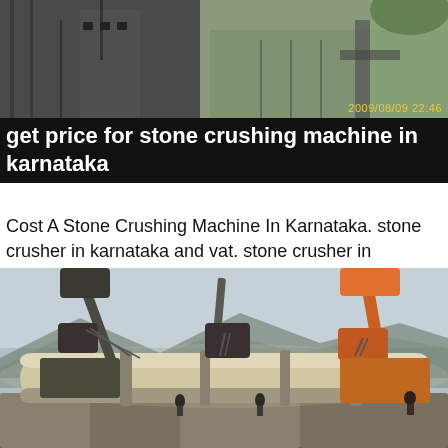[Figure (photo): Top photo showing industrial stone crushing machinery or building exterior, with timestamp overlay reading 2009/08/09 22:46]
get price for stone crushing machine in karnataka
Cost A Stone Crushing Machine In Karnataka. stone crusher in karnataka and vat. stone crusher in karnataka and vat. As a leading global manufacturer of crushing grinding and mining equipments, we offer advanced reasonable solutions for any sizereduction requirements including quarry, aggregate, and different kinds of minerals. Get price
[Figure (photo): Bottom photo showing large industrial cylindrical drum/pipe being lifted by excavators/cranes at a construction or mining site, with workers visible in the background and mountains in the distance]